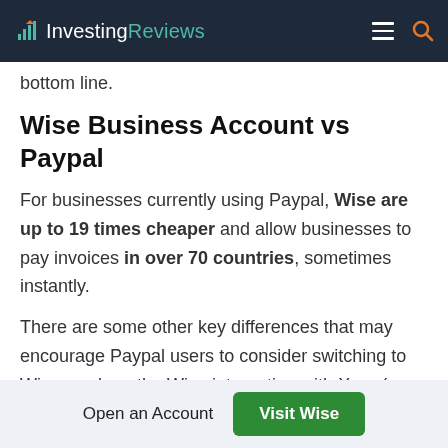InvestingReviews
bottom line.
Wise Business Account vs Paypal
For businesses currently using Paypal, Wise are up to 19 times cheaper and allow businesses to pay invoices in over 70 countries, sometimes instantly.
There are some other key differences that may encourage Paypal users to consider switching to Wise, such as the Wise integration with Xero (a cloud-based accounting software service), employee debit cards, affordable bulk payments, direct debits, and volume
Open an Account   Visit Wise